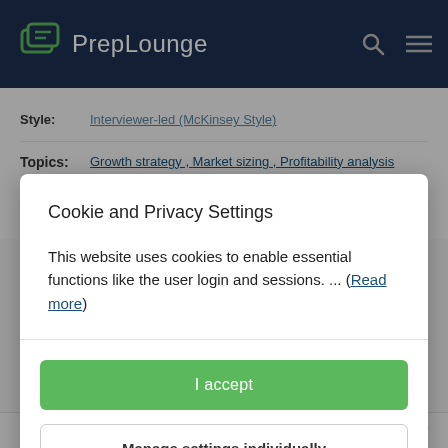PrepLounge
Style: Interviewer-led (McKinsey Style)
Topics: Growth strategy , Market sizing , Profitability analysis
Rating: ★★★★½ 4.4
Cookie and Privacy Settings
This website uses cookies to enable essential functions like the user login and sessions. ... (Read more)
I accept
Manage settings individually
Times Solved    Difficulty